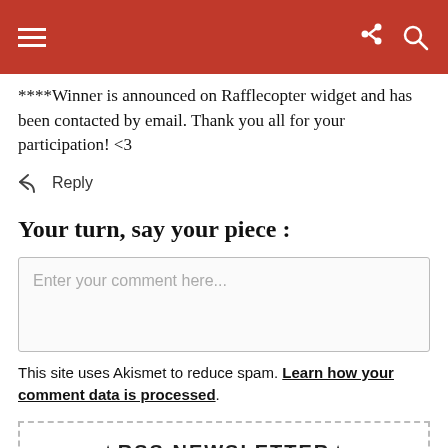****Winner is announced on Rafflecopter widget and has been contacted by email. Thank you all for your participation! <3
Reply
Your turn, say your piece :
Enter your comment here...
This site uses Akismet to reduce spam. Learn how your comment data is processed.
★RSS NEWSLETTER★